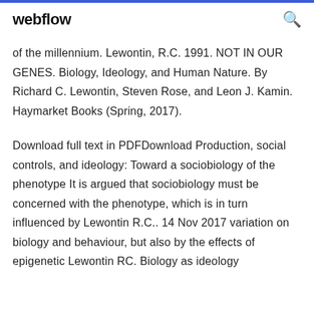webflow
of the millennium. Lewontin, R.C. 1991. NOT IN OUR GENES. Biology, Ideology, and Human Nature. By Richard C. Lewontin, Steven Rose, and Leon J. Kamin. Haymarket Books (Spring, 2017).
Download full text in PDFDownload Production, social controls, and ideology: Toward a sociobiology of the phenotype It is argued that sociobiology must be concerned with the phenotype, which is in turn influenced by Lewontin R.C.. 14 Nov 2017 variation on biology and behaviour, but also by the effects of epigenetic Lewontin RC. Biology as ideology